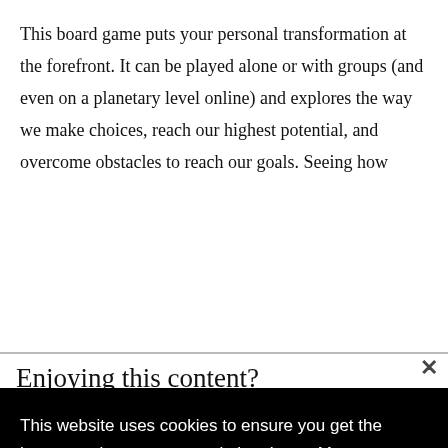This board game puts your personal transformation at the forefront. It can be played alone or with groups (and even on a planetary level online) and explores the way we make choices, reach our highest potential, and overcome obstacles to reach our goals. Seeing how
Enjoying this content?
Get this article and many more delivered straight to
This website uses cookies to ensure you get the best experience on our website.  Learn More
[Figure (screenshot): Advertisement banner for BELK featuring Denim all day. www.belk.com with product images and a blue arrow button]